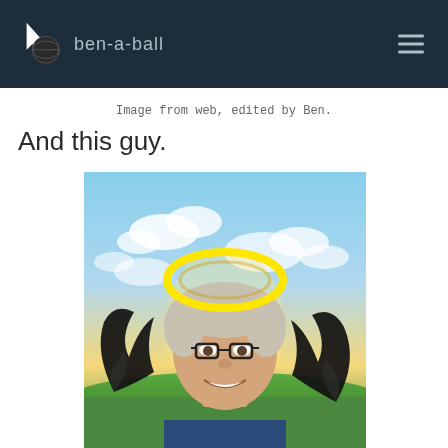ben-a-ball
Image from web, edited by Ben.
And this guy.
[Figure (photo): A man with grey hair and glasses smiling, set against a sky background with clouds and green hills. A yellow drawn halo appears above his head and black drawn wings on the sides, giving him an angel appearance. The image has been edited/memed by Ben.]